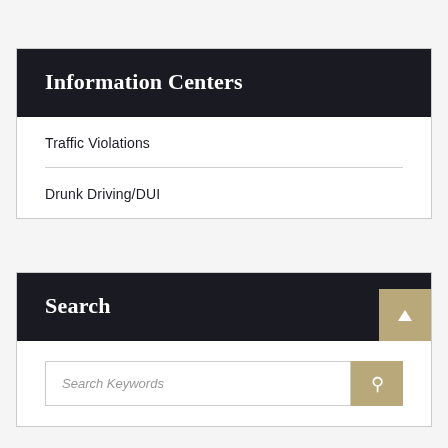Information Centers
Traffic Violations
Drunk Driving/DUI
Search
Search Keywords